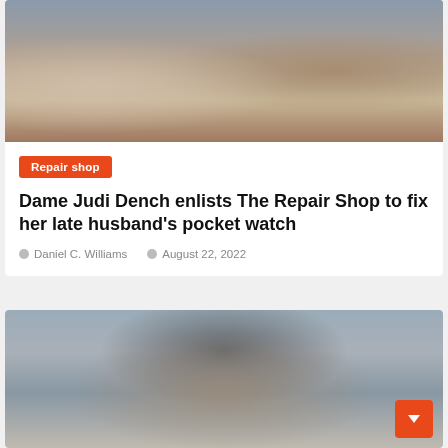[Figure (photo): Three people standing around a wooden workshop table — an older woman smiling on the left, a man in a dark vest in the center, and a man in a tan apron on the right. Appears to be a TV show repair workshop setting.]
Repair shop
Dame Judi Dench enlists The Repair Shop to fix her late husband's pocket watch
Daniel C. Williams   August 22, 2022
[Figure (photo): A man wearing a dark flat cap and large black-framed glasses, photographed against a grey background. Partial view cropped at bottom of page.]